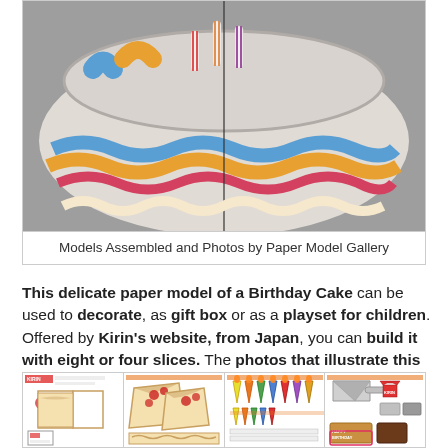[Figure (photo): Top-down view of an assembled paper model birthday cake, showing decorative frosting layers in blue, orange, and pink/red, with white striped candles on top. The cake is split into sections showing a seam/cut.]
Models Assembled and Photos by Paper Model Gallery
This delicate paper model of a Birthday Cake can be used to decorate, as gift box or as a playset for children. Offered by Kirin's website, from Japan, you can build it with eight or four slices. The photos that illustrate this post are from Paper Model Gallery, a Jaqpanese website.
[Figure (photo): Four paper craft template sheets for the birthday cake model, showing cut-out and fold patterns for cake slices, candles, decorations, and accessories. The sheets are from Kirin's website and include instructions in Japanese.]